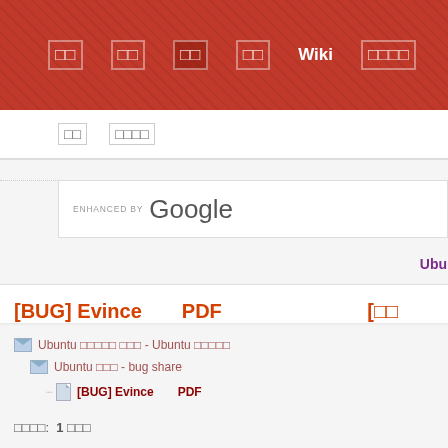Navigation bar with menu items and Wiki link
Sub navigation items
[Figure (screenshot): Enhanced by Google search bar]
Ubu (partial text, cut off)
[BUG] Evince　　PDF　　　　　　　　　 [
Ubuntu 　　　　 　　　 - Ubuntu
Ubuntu 　　　 - bug share
[BUG] Evince　　PDF
:  1